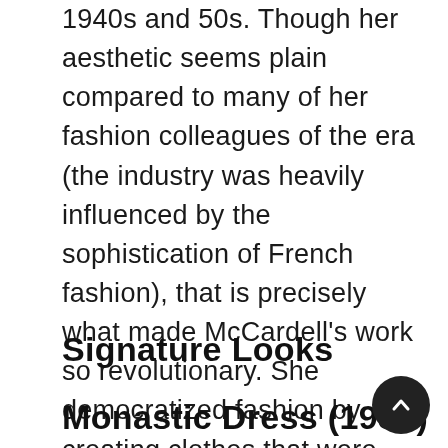1940s and 50s. Though her aesthetic seems plain compared to many of her fashion colleagues of the era (the industry was heavily influenced by the sophistication of French fashion), that is precisely what made McCardell's work so revolutionary. She democratized fashion by creating clothes that were both functional and stylish with an added touch of tomboyish sensibility. Her designs were representative of the sporty modern American woman, with her signature looks including the Monastic and Popover Dress and Capezio ballet flats.
Signature Looks
Monastic Dress (1938)
[Figure (other): Circular dark scroll-to-top button with upward chevron arrow, positioned in lower right corner]